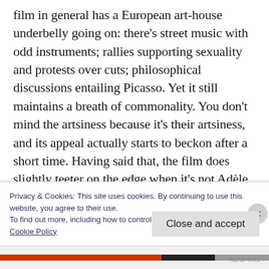film in general has a European art-house underbelly going on: there's street music with odd instruments; rallies supporting sexuality and protests over cuts; philosophical discussions entailing Picasso. Yet it still maintains a breath of commonality. You don't mind the artsiness because it's their artsiness, and its appeal actually starts to beckon after a short time. Having said that, the film does slightly teeter on the edge when it's not Adèle and Emma swapping these conversations —
Privacy & Cookies: This site uses cookies. By continuing to use this website, you agree to their use.
To find out more, including how to control cookies, see here:
Cookie Policy
Close and accept